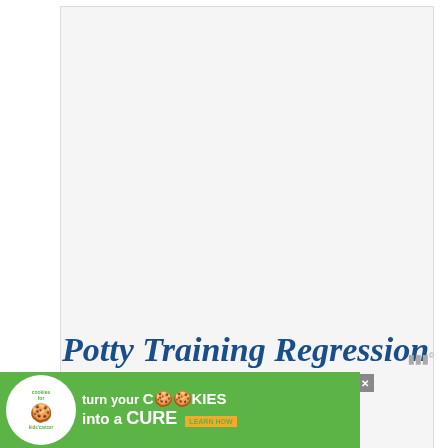[Figure (other): Gray advertisement placeholder box with watermark logo in bottom right corner]
END ADVERTISEMENT
Potty Training Regression – Watch out!
[Figure (other): Cookie banner advertisement: 'turn your COOKIES into a CURE LEARN HOW' with cookies for kids cancer logo and close button]